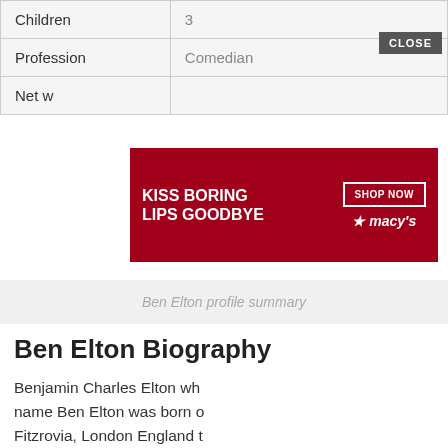| Children | 3 |
| Profession | Comedian |
| Net w... |  |
Ben Elton profile summary
Ben Elton Biography
Benjamin Charles Elton whose full name Ben Elton was born on Fitzrovia, London England to... Forster. His father was a Physicist and researcher and he was a member of the American Institutes of Physics, and also a fellow of The Society of Research...
[Figure (screenshot): Macy's lipstick advertisement banner: 'KISS BORING LIPS GOODBYE' with SHOP NOW button and Macy's star logo]
[Figure (screenshot): Video overlay showing a street scene at night with a play button]
[Figure (screenshot): Bottom advertisement: '37 BEAUTY PRODUCTS WITH SUCH GOOD REVIEWS YOU MIGHT WANT TO TRY THEM YOURSELF' with 22 Words logo]